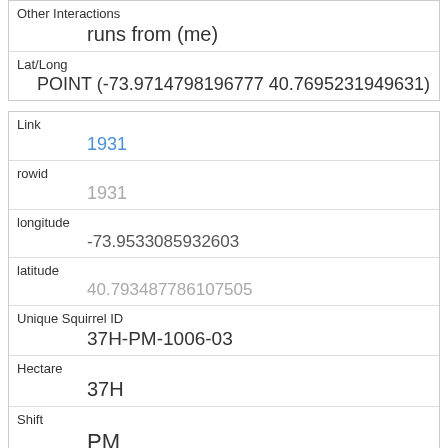| Field | Value |
| --- | --- |
| Other Interactions | runs from (me) |
| Lat/Long | POINT (-73.9714798196777 40.7695231949631) |
| Field | Value |
| --- | --- |
| Link | 1931 |
| rowid | 1931 |
| longitude | -73.9533085932603 |
| latitude | 40.793487786107505 |
| Unique Squirrel ID | 37H-PM-1006-03 |
| Hectare | 37H |
| Shift | PM |
| Date | 10062018 |